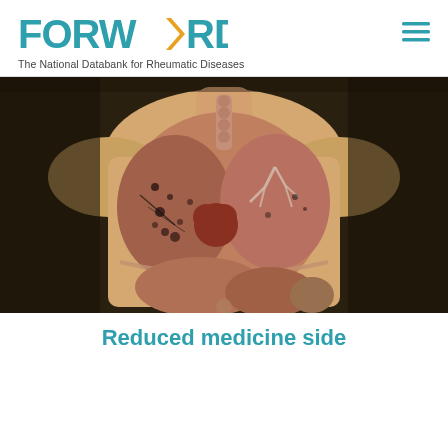FORWARD - The National Databank for Rheumatic Diseases
[Figure (photo): Anatomical model of a human torso showing internal organs including lungs, heart, and abdominal organs, with detailed cross-section view against a dark background]
Reduced medicine side